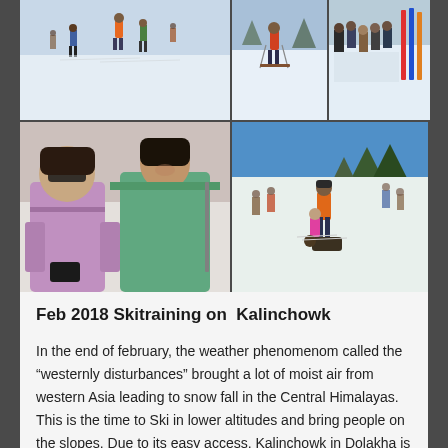[Figure (photo): Collage of 5 photos showing ski training on Kalinchowk in February 2018. Top row: people skiing on snowy slopes (left), skier on snow (middle), crowd of people gathered on snow with colorful ski equipment (right). Bottom row: two women in winter clothing with ski poles (left), people skiing and snowboarding on a snowy slope with trees in background (right).]
Feb 2018 Skitraining on  Kalinchowk
In the end of february, the weather phenomenom called the “westernly disturbances” brought a lot of moist air from western Asia leading to snow fall in the Central Himalayas. This is the time to Ski in lower altitudes and bring people on the slopes. Due to its easy access, Kalinchowk in Dolakha is a great start to check out Ski and Snowboarding for a small budget. Also dozens of locals from the near town of Charikot